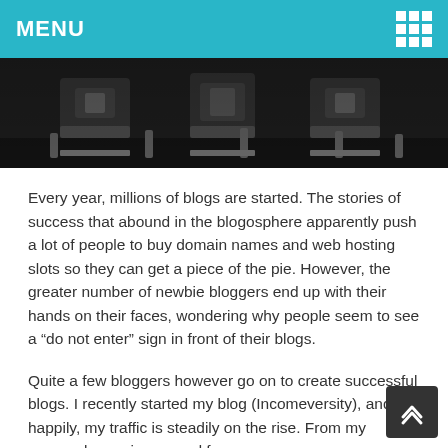MENU
[Figure (photo): Close-up dark photograph of typewriter keys/mechanism]
Every year, millions of blogs are started. The stories of success that abound in the blogosphere apparently push a lot of people to buy domain names and web hosting slots so they can get a piece of the pie. However, the greater number of newbie bloggers end up with their hands on their faces, wondering why people seem to see a “do not enter” sign in front of their blogs.
Quite a few bloggers however go on to create successful blogs. I recently started my blog (Incomeversity), and happily, my traffic is steadily on the rise. From my personal experience, and from